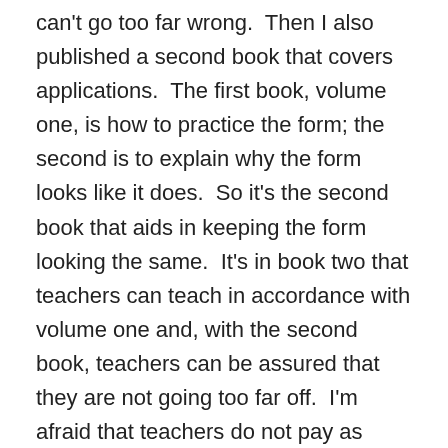can't go too far wrong.  Then I also published a second book that covers applications.  The first book, volume one, is how to practice the form; the second is to explain why the form looks like it does.  So it's the second book that aids in keeping the form looking the same.  It's in book two that teachers can teach in accordance with volume one and, with the second book, teachers can be assured that they are not going too far off.  I'm afraid that teachers do not pay as much attention to volume two, but it is the second book that will be of the most help to teachers in keeping the integrity of the form.  The two books, together, I hope, will be the reference for the future.  With these two volumes I hope that Yangjia Michuan teachers will work in accordance with what they contain as standard references.  And the applications will not change, the form will not change, and we can all be working together